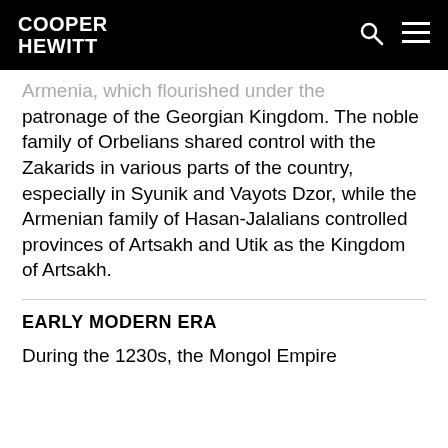COOPER HEWITT
Armenia, which flourished under the patronage of the Georgian Kingdom. The noble family of Orbelians shared control with the Zakarids in various parts of the country, especially in Syunik and Vayots Dzor, while the Armenian family of Hasan-Jalalians controlled provinces of Artsakh and Utik as the Kingdom of Artsakh.
EARLY MODERN ERA
During the 1230s, the Mongol Empire